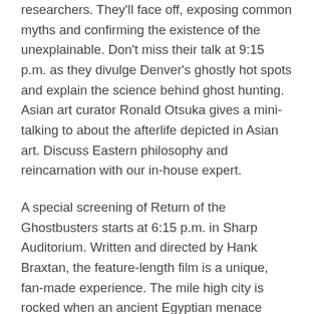researchers. They'll face off, exposing common myths and confirming the existence of the unexplainable. Don't miss their talk at 9:15 p.m. as they divulge Denver's ghostly hot spots and explain the science behind ghost hunting. Asian art curator Ronald Otsuka gives a mini-talking to about the afterlife depicted in Asian art. Discuss Eastern philosophy and reincarnation with our in-house expert.
A special screening of Return of the Ghostbusters starts at 6:15 p.m. in Sharp Auditorium. Written and directed by Hank Braxtan, the feature-length film is a unique, fan-made experience. The mile high city is rocked when an ancient Egyptian menace comes to town and the Denver Ghostbusters must save the universe once more. The entire movie was filmed in Denver and contains some local Ghostbusters fanatics.
Local bands Bad Luck City and the Legendary City Drifters play sets in Duncan Pavilion while DJs send chills through the atrium. Buntport Theater presents a spooktacular rendition of their show